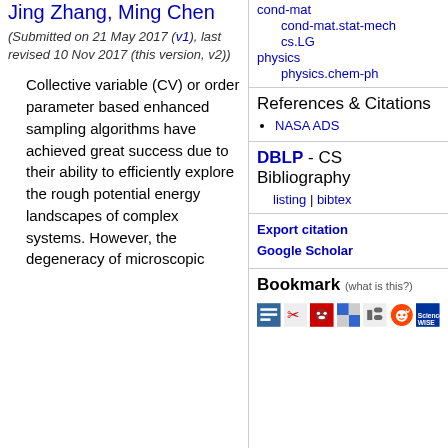Jing Zhang, Ming Chen
(Submitted on 21 May 2017 (v1), last revised 10 Nov 2017 (this version, v2))
Collective variable (CV) or order parameter based enhanced sampling algorithms have achieved great success due to their ability to efficiently explore the rough potential energy landscapes of complex systems. However, the degeneracy of microscopic
cond-mat
cond-mat.stat-mech
cs.LG
physics
physics.chem-ph
References & Citations
NASA ADS
DBLP - CS Bibliography
listing | bibtex
Export citation
Google Scholar
Bookmark (what is this?)